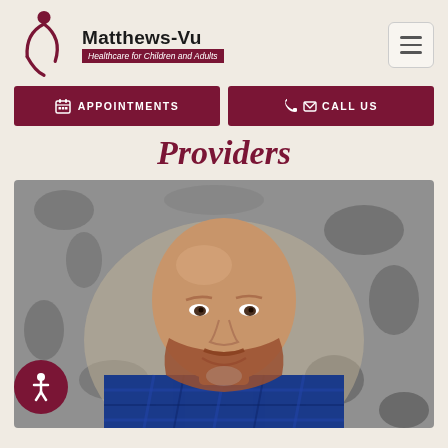Matthews-Vu Healthcare for Children and Adults
APPOINTMENTS
CALL US
Providers
[Figure (photo): Professional headshot of a bald man with a reddish-brown beard, smiling, wearing a blue plaid shirt, against a grey stone/concrete background]